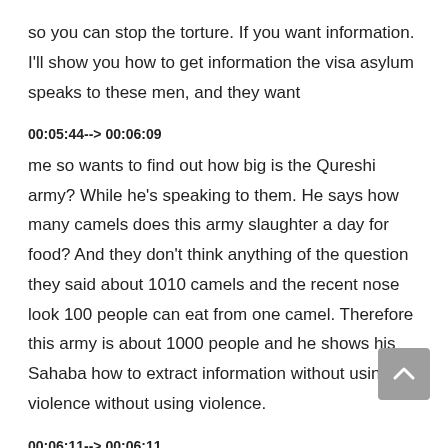so you can stop the torture. If you want information. I'll show you how to get information the visa asylum speaks to these men, and they want
00:05:44--> 00:06:09
me so wants to find out how big is the Qureshi army? While he's speaking to them. He says how many camels does this army slaughter a day for food? And they don't think anything of the question they said about 1010 camels and the recent nose look 100 people can eat from one camel. Therefore this army is about 1000 people and he shows his Sahaba how to extract information without using violence without using violence.
00:06:11--> 00:06:11
The night